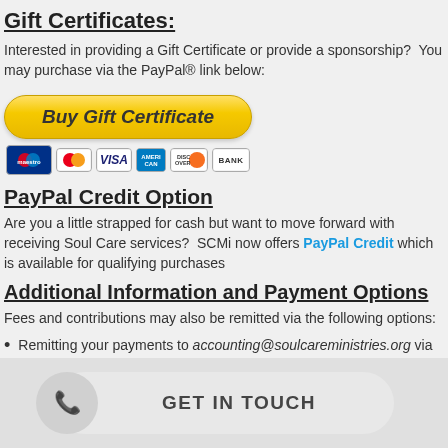Gift Certificates:
Interested in providing a Gift Certificate or provide a sponsorship? You may purchase via the PayPal® link below:
[Figure (other): PayPal Buy Gift Certificate button with payment card icons (Maestro, MasterCard, Visa, American Express, Discover, Bank)]
PayPal Credit Option
Are you a little strapped for cash but want to move forward with receiving Soul Care services? SCMi now offers PayPal Credit which is available for qualifying purchases
Additional Information and Payment Options
Fees and contributions may also be remitted via the following options:
Remitting your payments to accounting@soulcareministries.org via www.paypal... you be effective... on servi...
GET IN TOUCH